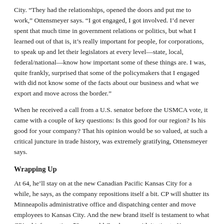City. “They had the relationships, opened the doors and put me to work,” Ottensmeyer says. “I got engaged, I got involved. I’d never spent that much time in government relations or politics, but what I learned out of that is, it’s really important for people, for corporations, to speak up and let their legislators at every level—state, local, federal/national—know how important some of these things are. I was, quite frankly, surprised that some of the policymakers that I engaged with did not know some of the facts about our business and what we export and move across the border.”
When he received a call from a U.S. senator before the USMCA vote, it came with a couple of key questions: Is this good for our region? Is his good for your company? That his opinion would be so valued, at such a critical juncture in trade history, was extremely gratifying, Ottensmeyer says.
Wrapping Up
At 64, he’ll stay on at the new Canadian Pacific Kansas City for a while, he says, as the company repositions itself a bit. CP will shutter its Minneapolis administrative office and dispatching center and move employees to Kansas City. And the new brand itself is testament to what CP’s chief executive, 52-year-old Creel, sees with its ties to Kansas City.
“It was Keith’s idea to change the name to Canadian Pacific Kansas City—that was his suggestion and he was the first one to bring that up,” Ottensmeyer says. “I’ll caveat that by saying we would have put our foot down on some of these things, but we didn’t have to. They really wanted to position this as a